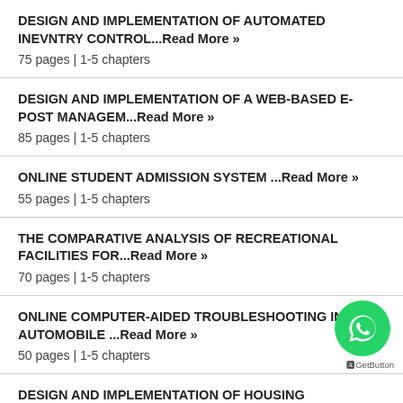DESIGN AND IMPLEMENTATION OF AUTOMATED INEVNTRY CONTROL...Read More »
75 pages | 1-5 chapters
DESIGN AND IMPLEMENTATION OF A WEB-BASED E-POST MANAGEM...Read More »
85 pages | 1-5 chapters
ONLINE STUDENT ADMISSION SYSTEM ...Read More »
55 pages | 1-5 chapters
THE COMPARATIVE ANALYSIS OF RECREATIONAL FACILITIES FOR...Read More »
70 pages | 1-5 chapters
ONLINE COMPUTER-AIDED TROUBLESHOOTING IN AUTOMOBILE ...Read More »
50 pages | 1-5 chapters
DESIGN AND IMPLEMENTATION OF HOUSING ALLOCATION SYSTEM...Read More »